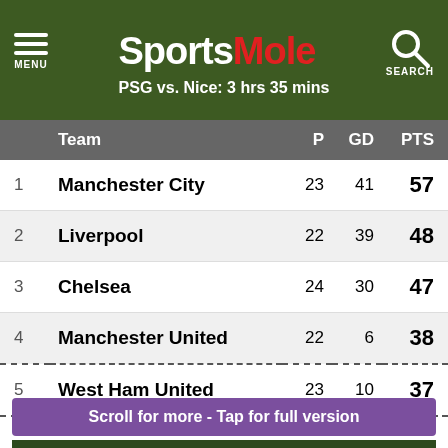Sports Mole — PSG vs. Nice: 3 hrs 35 mins
|  | Team | P | GD | PTS |
| --- | --- | --- | --- | --- |
| 1 | Manchester City | 23 | 41 | 57 |
| 2 | Liverpool | 22 | 39 | 48 |
| 3 | Chelsea | 24 | 30 | 47 |
| 4 | Manchester United | 22 | 6 | 38 |
| 5 | West Ham United | 23 | 10 | 37 |
Scroll for more - Tap for full version
TOP STORIES
Live Coverage: Deadline day - Aubameyang to Barca breaks down, All...
Real Madrid 'reach agreement to sign Kylian Mbappe'
Aubameyang 'returning to London after Barcelona talks break down'